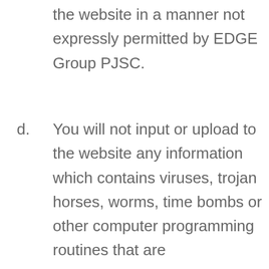the website in a manner not expressly permitted by EDGE Group PJSC.
d. You will not input or upload to the website any information which contains viruses, trojan horses, worms, time bombs or other computer programming routines that are